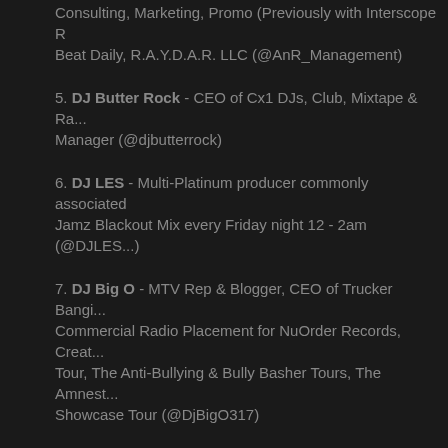Consulting, Marketing, Promo (Previously with Interscope R... Beat Daily, R.A.Y.D.A.R. LLC (@AnR_Management)
5. DJ Butter Rock - CEO of Cx1 DJs, Club, Mixtape & Ra... Manager (@djbutterrock)
6. DJ LES - Multi-Platinum producer commonly associated... Jamz Blackout Mix every Friday night 12 - 2am (@DJLES...)
7. DJ Big O - MTV Rep & Blogger, CEO of Trucker Bangi... Commercial Radio Placement for NuOrder Records, Creat... Tour, The Anti-Bullying & Bully Basher Tours, The Amnest... Showcase Tour (@DjBigO317)
8. Gordon Bostic - CEO of Kocky Ent. & Owner/President... (@kockymuzik)
9. Ace Boon Coon - Producer for 2 Chainz, Snoop Dogg... & more (@OFFICIALCOONBIZ)
10. Benjamin Bond - Founder of Broadcast Online Radio... benniestacks)